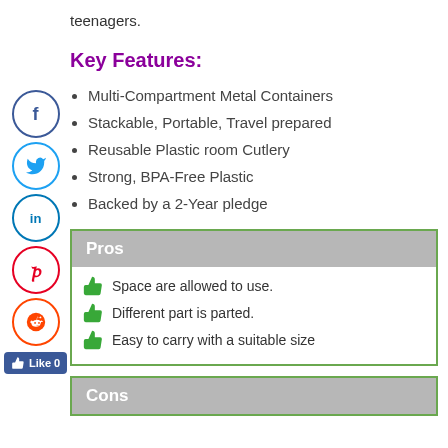teenagers.
Key Features:
Multi-Compartment Metal Containers
Stackable, Portable, Travel prepared
Reusable Plastic room Cutlery
Strong, BPA-Free Plastic
Backed by a 2-Year pledge
Pros
Space are allowed to use.
Different part is parted.
Easy to carry with a suitable size
Cons